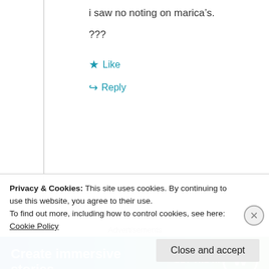i saw no noting on marica's.
???
★ Like
↪ Reply
Advertisements
[Figure (screenshot): WordPress advertisement banner reading 'Create immersive stories' with GET THE APP button and WordPress logo on blue-green gradient background]
grandmaintexas
Privacy & Cookies: This site uses cookies. By continuing to use this website, you agree to their use.
To find out more, including how to control cookies, see here: Cookie Policy
Close and accept